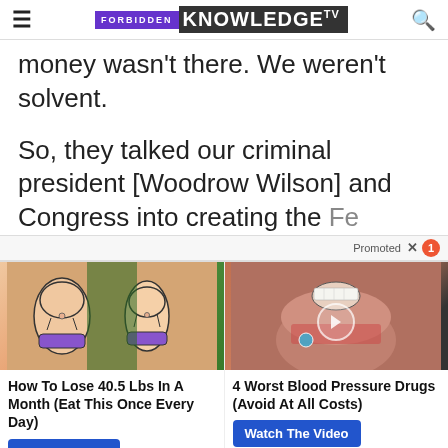FORBIDDEN KNOWLEDGE TV
money wasn't there. We weren't solvent.
So, they talked our criminal president [Woodrow Wilson] and Congress into creating the Fed...
[Figure (screenshot): Promoted ad overlay with two advertisement cards: 'How To Lose 40.5 Lbs In A Month (Eat This Once Every Day)' with Find Out More button, and '4 Worst Blood Pressure Drugs (Avoid At All Costs)' with Watch The Video button.]